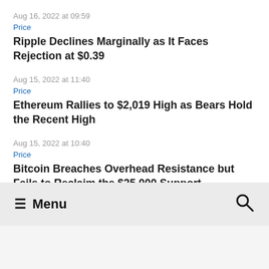Aug 16, 2022 at 09:59
Price
Ripple Declines Marginally as It Faces Rejection at $0.39
Aug 15, 2022 at 11:40
Price
Ethereum Rallies to $2,019 High as Bears Hold the Recent High
Aug 15, 2022 at 10:40
Price
Bitcoin Breaches Overhead Resistance but Fails to Reclaim the $25,000 Support
≡ Menu  🔍